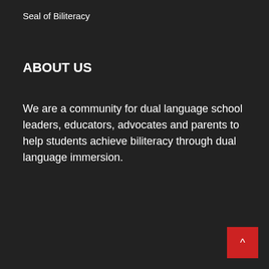Seal of Biliteracy
ABOUT US
We are a community for dual language school leaders, educators, advocates and parents to help students achieve biliteracy through dual language immersion.